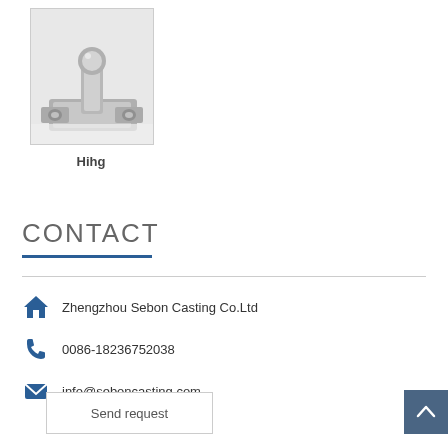[Figure (photo): Photo of a metal hinge or casting hardware component, appearing silver/chrome colored, on a white background]
Hihg
CONTACT
Zhengzhou Sebon Casting Co.Ltd
0086-18236752038
info@seboncasting.com
Send request